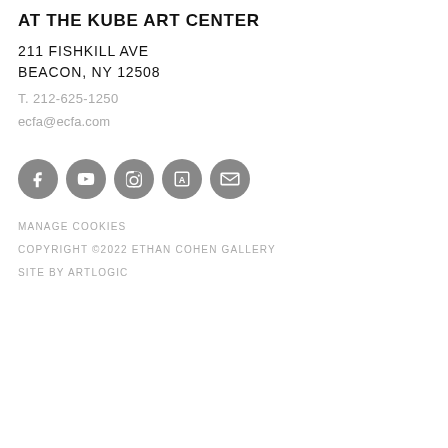AT THE KUBE ART CENTER
211 FISHKILL AVE
BEACON, NY 12508
T. 212-625-1250
ecfa@ecfa.com
[Figure (infographic): Five circular gray social media icons: Facebook, YouTube, Instagram, Artsy (letter A), and Email (envelope)]
MANAGE COOKIES
COPYRIGHT ©2022 ETHAN COHEN GALLERY
SITE BY ARTLOGIC